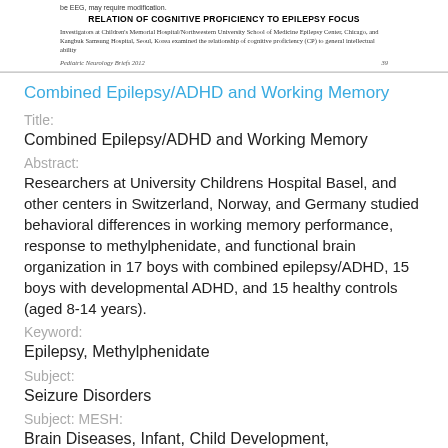be EEG, may require modification.
RELATION OF COGNITIVE PROFICIENCY TO EPILEPSY FOCUS
Investigators at Children's Memorial Hospital/Northwestern University School of Medicine Epilepsy Center, Chicago, and Kangbuk Samsung Hospital, Seoul, Korea examined the relationship of cognitive proficiency (CP) to general intellectual ability
Pediatric Neurology Briefs 2012   39
Combined Epilepsy/ADHD and Working Memory
Title:
Combined Epilepsy/ADHD and Working Memory
Abstract:
Researchers at University Childrens Hospital Basel, and other centers in Switzerland, Norway, and Germany studied behavioral differences in working memory performance, response to methylphenidate, and functional brain organization in 17 boys with combined epilepsy/ADHD, 15 boys with developmental ADHD, and 15 healthy controls (aged 8-14 years).
Keyword:
Epilepsy, Methylphenidate
Subject:
Seizure Disorders
Subject: MESH:
Brain Diseases, Infant, Child Development, Neurosurgery, Pediatrics, Neurology, Nervous System